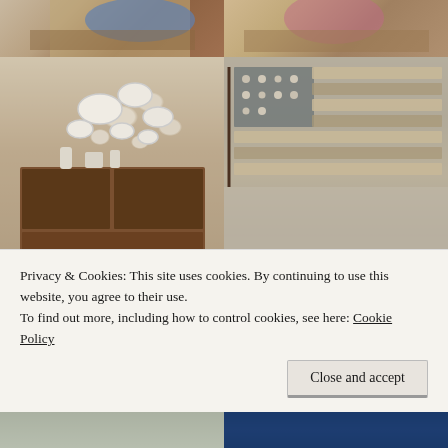[Figure (photo): Top row: two photos partially visible - left shows decorative ceramic/pottery item on table, right shows similar decorative vase/container on wooden surface]
[Figure (photo): Middle left: vintage wooden cabinet/hutch with white ceramic dishes and plates displayed on wall above it in a dining room]
[Figure (photo): Middle right: American flag made from seashells and stones arranged on sandy beach]
[Figure (photo): Bottom left partial: ceramic mug or pitcher with tea/coffee]
[Figure (photo): Bottom right partial: Lakewood 40 market sign with text about weekend and monthly]
Privacy & Cookies: This site uses cookies. By continuing to use this website, you agree to their use.
To find out more, including how to control cookies, see here: Cookie Policy
Close and accept